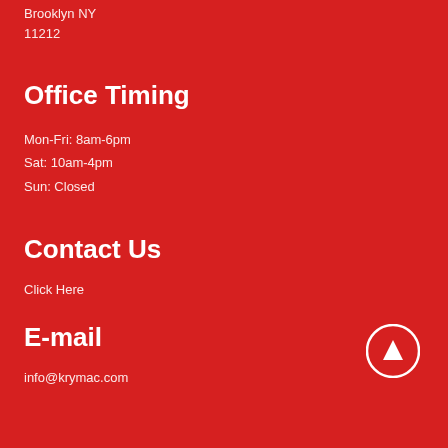Brooklyn NY
11212
Office Timing
Mon-Fri: 8am-6pm
Sat: 10am-4pm
Sun: Closed
Contact Us
Click Here
E-mail
info@krymac.com
[Figure (illustration): Red circle button with white upward-pointing triangle arrow, scroll-to-top button]